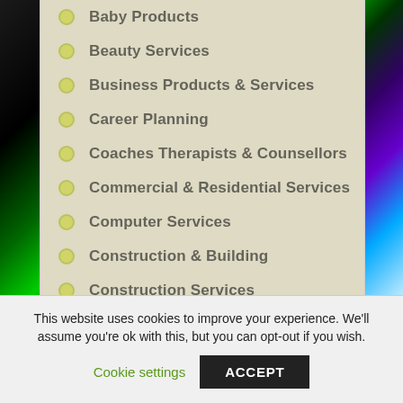Baby Products
Beauty Services
Business Products & Services
Career Planning
Coaches Therapists & Counsellors
Commercial & Residential Services
Computer Services
Construction & Building
Construction Services
Creative Arts & Design
Dating Services
This website uses cookies to improve your experience. We'll assume you're ok with this, but you can opt-out if you wish.
Cookie settings  ACCEPT